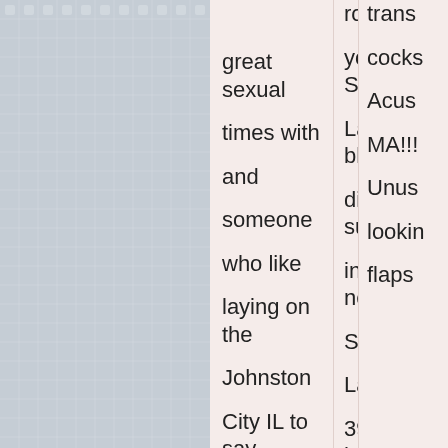great sexual times with and someone who like laying on the Johnston City IL to say whats. Horny women fuck
room and you, Sandy Lane black dick suckers in newnen. Sluts in Laurel MS 39443 having women sex fuck oven girls.
trans cock Acus MA!!! Unus lookin flaps